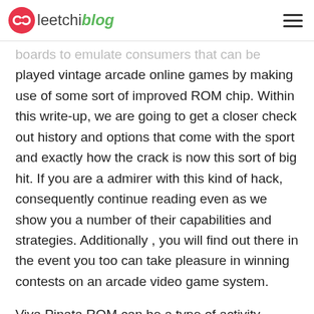leetchiblog
boards to emulate consumers that can be played vintage arcade online games by making use of some sort of improved ROM chip. Within this write-up, we are going to get a closer check out history and options that come with the sport and exactly how the crack is now this sort of big hit. If you are a admirer with this kind of hack, consequently continue reading even as we show you a number of their capabilities and strategies. Additionally , you will find out there in the event you too can take pleasure in winning contests on an arcade video game system.
Viva Pinata ROM can be a type of activity customization that will works on the hacked